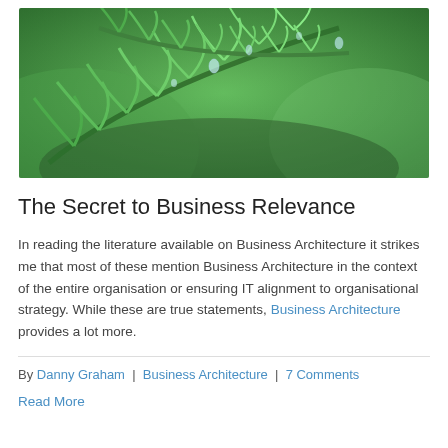[Figure (photo): Close-up photo of green fern leaves with water droplets on a blurred green background]
The Secret to Business Relevance
In reading the literature available on Business Architecture it strikes me that most of these mention Business Architecture in the context of the entire organisation or ensuring IT alignment to organisational strategy. While these are true statements, Business Architecture provides a lot more.
By Danny Graham | Business Architecture | 7 Comments
Read More